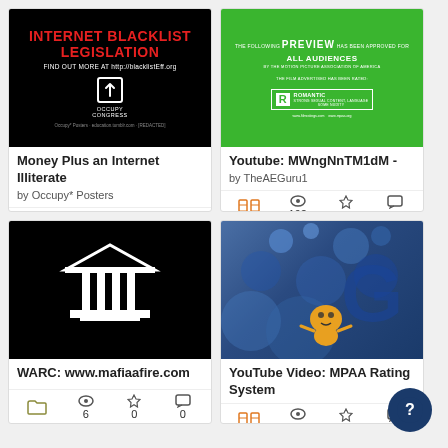[Figure (screenshot): Card grid showing 4 media items: 1) Internet Blacklist Legislation poster (black bg, red text) by Occupy* Posters - 33 views, 1 star, 0 comments; 2) Youtube: MWngNnTM1dM - by TheAEGuru1 - 192 views, 0 stars, 0 comments; 3) WARC: www.mafiaafire.com - 6 views, 0 stars, 0 comments; 4) YouTube Video: MPAA Rating System - 78 views, 0 stars, 0 comments]